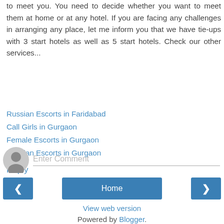to meet you. You need to decide whether you want to meet them at home or at any hotel. If you are facing any challenges in arranging any place, let me inform you that we have tie-ups with 3 start hotels as well as 5 start hotels. Check our other services...
Russian Escorts in Faridabad
Call Girls in Gurgaon
Female Escorts in Gurgaon
Russian Escorts in Gurgaon
Reply
[Figure (other): User avatar placeholder icon (grey silhouette) with Enter Comment text input field below a horizontal line]
[Figure (other): Navigation buttons: left arrow button, Home button, right arrow button]
View web version
Powered by Blogger.